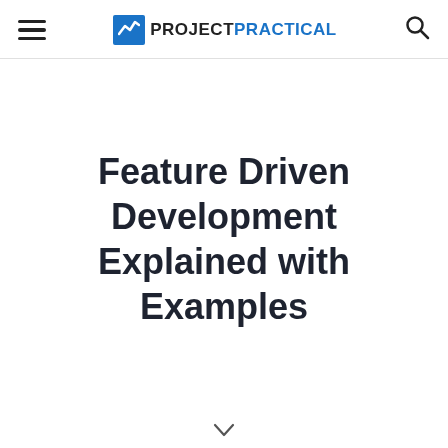PROJECT PRACTICAL
Feature Driven Development Explained with Examples